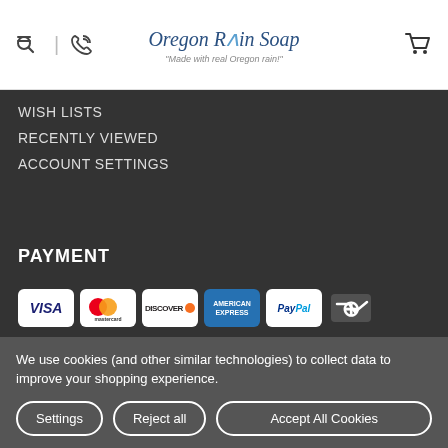Oregon Rain Soap — 'Made with real Oregon rain!'
WISH LISTS
RECENTLY VIEWED
ACCOUNT SETTINGS
PAYMENT
[Figure (logo): Payment method icons: VISA, Mastercard, Discover, American Express, PayPal, Google/Apple Pay wallet]
We use cookies (and other similar technologies) to collect data to improve your shopping experience.
Settings | Reject all | Accept All Cookies